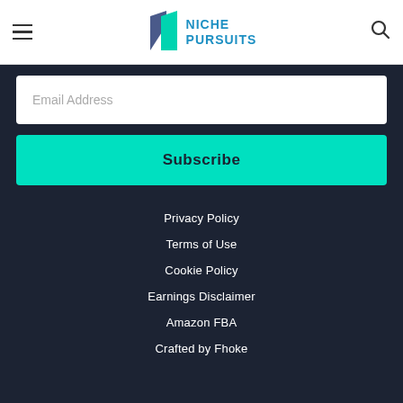Niche Pursuits
Email Address
Subscribe
Privacy Policy
Terms of Use
Cookie Policy
Earnings Disclaimer
Amazon FBA
Crafted by Fhoke